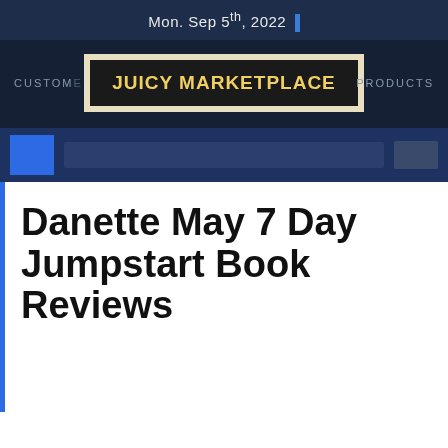Mon. Sep 5th, 2022
[Figure (logo): Juicy Marketplace logo with navigation links: CUSTOM... and PRODUCTS]
[Figure (screenshot): Dark blue toolbar with blue square button, search bar, and small button]
Danette May 7 Day Jumpstart Book Reviews